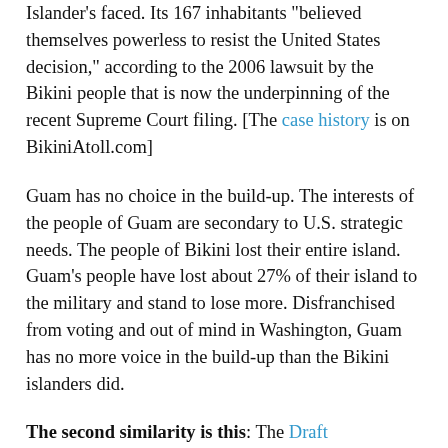Islander's faced. Its 167 inhabitants "believed themselves powerless to resist the United States decision," according to the 2006 lawsuit by the Bikini people that is now the underpinning of the recent Supreme Court filing. [The case history is on BikiniAtoll.com]
Guam has no choice in the build-up. The interests of the people of Guam are secondary to U.S. strategic needs. The people of Bikini lost their entire island. Guam's people have lost about 27% of their island to the military and stand to lose more. Disfranchised from voting and out of mind in Washington, Guam has no more voice in the build-up than the Bikini islanders did.
The second similarity is this: The Draft Environment Impact Statement (DEIS) wasn't written to protect Guam. It was written to protect the U.S. government from criticism once things go wrong on Guam. Bikini's history illustrates how this will happen.
Bikini's islanders were relocated to Rongerik, an uninhabited and unlivable atoll. It was made up of a ring of 17 small islands totaling 65 acres, with a lagoon that was...